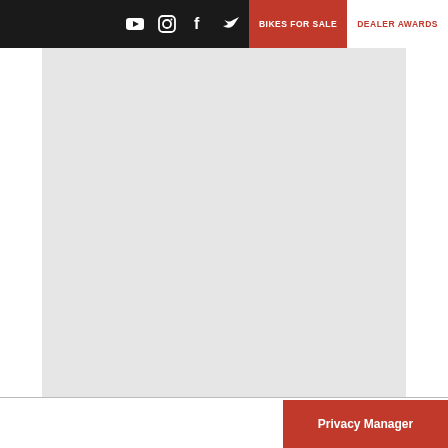Social icons: YouTube, Instagram, Facebook, Twitter | BIKES FOR SALE | DEALER AWARDS
[Figure (screenshot): Main content area with light gray background and white sidebars, representing a webpage body placeholder]
Privacy Manager